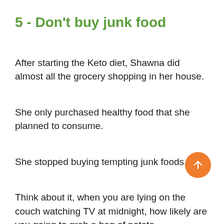5 - Don't buy junk food
After starting the Keto diet, Shawna did almost all the grocery shopping in her house.
She only purchased healthy food that she planned to consume.
She stopped buying tempting junk foods.
Think about it, when you are lying on the couch watching TV at midnight, how likely are you going to grab a bag of potato